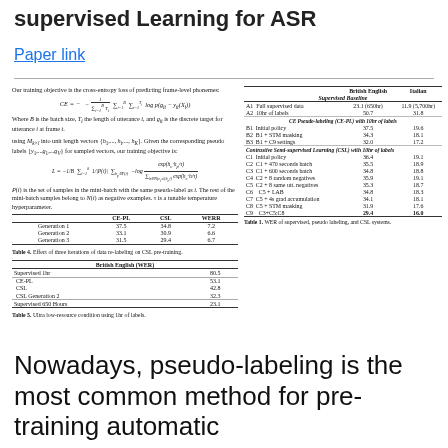supervised Learning for ASR
Paper link
Our training objective is the cross-entropy loss of predicting frame-level phonemes:
Where B is the batch size, T_i the length of utterance i, and g_it is the discrete target for utterance i at frame t.
using M_{k×l} into unit length vectors {h_1,...,h_i,...,h_K}. Given the corresponding pseudo labels {y_1,...,g_1,...,g_V} for sampled vectors, our training objective is:
P(i) is the set of samples in the mini-batch with the same pseudo-label as i. The rest of the mini-batch samples belong to N(i) as negative examples. τ is a tunable temperature hyperparameter.
|  | CE-PL | CSL | WERR |
| --- | --- | --- | --- |
| Generation 1 | 37.5 | 34.8 | 7.2 |
| Generation 2 | 33.1 | 30.9 | 6.6 |
| Generation 3 | 31.5 | 29.4 | 6.7 |
Table 4. Effect of three iterations of data re-labeling on CSL pre-training.
|  | British English (WER) |
| --- | --- |
| Supervised 1hr | 80.5 |
| CE-PL | 53.1 |
| CSL | 42.8 |
| CSL Generation 2 | 32.3 |
| Supervised 650 Hours | 23.1 |
Table 5. Ultra low-resource condition using 1hr of labels.
|  | British English | Italian |
| --- | --- | --- |
| Supervised Baseline |  |  |
| A1  Full supervised data | 23.1 (650hr) | 11.9 (5,700hr) |
| A2  10hr of labels | 50.7 | 31.8 |
| CE Pseudo-labeling (CE-PL) with 10hr of labels |  |  |
| B1  Initial policy | 37.5 | 19.6 |
| B2  B1 + STM masking | 34.3 | 18.1 |
| B3  B1 + C9 settings | 32.0 | 17.2 |
| Contrastive Semi-supervised Learning (CSL) with 10hr of labels |  |  |
| C1  Initial policy | 36.4 | 19.1 |
| C2  C1 + 470 seconds batch | 35.5 | 18.9 |
| C3  C1 + 600 seconds batch | 34.8 | 18.8 |
| C4  C2 + 8 random negatives | 35.9 | 19.1 |
| C5  C2 + 8 same utt. negatives | 35.3 | 18.7 |
| C6  C5 + LAB | 34.8 | 18.3 |
| C7  C5 + 4s grad accumulation | 34.1 | 18.1 |
| C8  C5 + STM masking | 31.9 | 17.6 |
| C9  C3+C5:C8 | 29.4 | 16.0 |
Table 1. WER of supervised, pseudo labeling, and CSL systems.
Nowadays, pseudo-labeling is the most common method for pre-training automatic